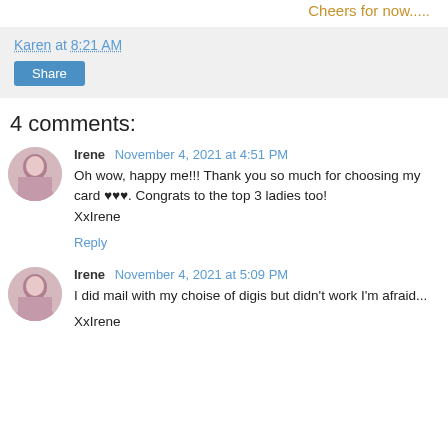Cheers for now.....
Karen at 8:21 AM
Share
4 comments:
Irene  November 4, 2021 at 4:51 PM
Oh wow, happy me!!! Thank you so much for choosing my card ♥♥♥. Congrats to the top 3 ladies too!
XxIrene
Reply
Irene  November 4, 2021 at 5:09 PM
I did mail with my choise of digis but didn't work I'm afraid...

XxIrene